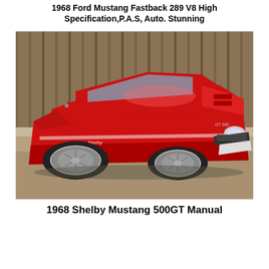1968 Ford Mustang Fastback 289 V8 High Specification,P.A.S, Auto. Stunning
[Figure (photo): A red 1968 Ford Mustang Fastback (Shelby GT500) photographed at a three-quarter front angle in a dirt parking area with a wooden fence in the background. The car features a dark hood scoop, chrome bumper, and period-correct alloy wheels with white-letter tires.]
1968 Shelby Mustang 500GT Manual